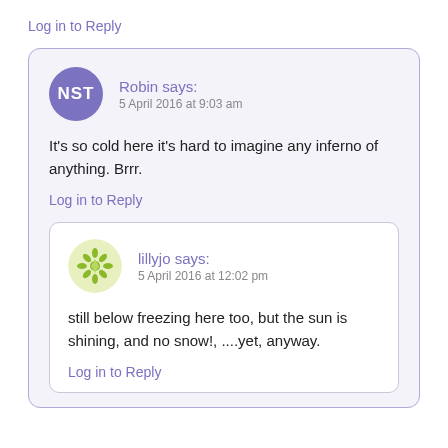Log in to Reply
Robin says:
5 April 2016 at 9:03 am
It's so cold here it's hard to imagine any inferno of anything. Brrr.
Log in to Reply
lillyjo says:
5 April 2016 at 12:02 pm
still below freezing here too, but the sun is shining, and no snow!, ....yet, anyway.
Log in to Reply